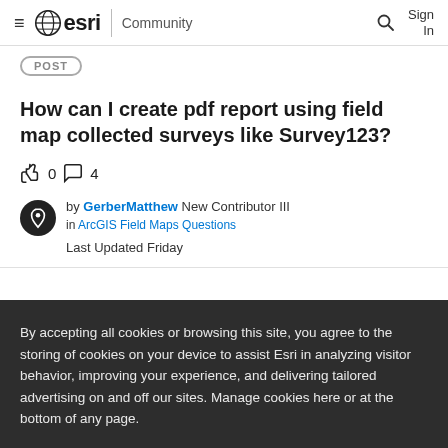esri Community
[Figure (logo): ESRI community logo with globe icon, hamburger menu, search icon, and Sign In button]
POST
How can I create pdf report using field map collected surveys like Survey123?
0  4
by GerberMatthew New Contributor III
in ArcGIS Field Maps Questions
Last Updated Friday
By accepting all cookies or browsing this site, you agree to the storing of cookies on your device to assist Esri in analyzing visitor behavior, improving your experience, and delivering tailored advertising on and off our sites. Manage cookies here or at the bottom of any page.